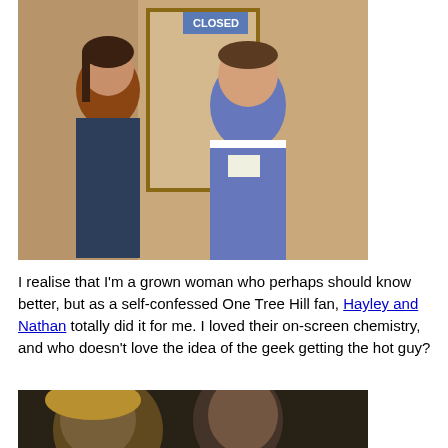[Figure (photo): Two people in a scene, a woman with arms crossed and a man in a letterman jacket, standing near a storefront with a 'CLOSED' sign]
I realise that I'm a grown woman who perhaps should know better, but as a self-confessed One Tree Hill fan, Hayley and Nathan totally did it for me. I loved their on-screen chemistry, and who doesn't love the idea of the geek getting the hot guy?
Being a fan of Smallville, I was always more into the action scenes, and fascinated by the dynamics of Clark and Lex Luthor's relationship than I was with any of the potential romantic relationships. Clark and Lana didn't work for me in the slightest, I don't know why, but it was all waaaay too angsty. Jimmy and Chloe was such a meh relationship that I used to skip their scenes, and don't get me started on Lois and Clark. In my opinion they had zero chemistry. A total yawn-fest in fact, right to the bitter end.
[Figure (photo): Two people in a dark scene, a blonde woman and a man with short hair, close-up portrait style]